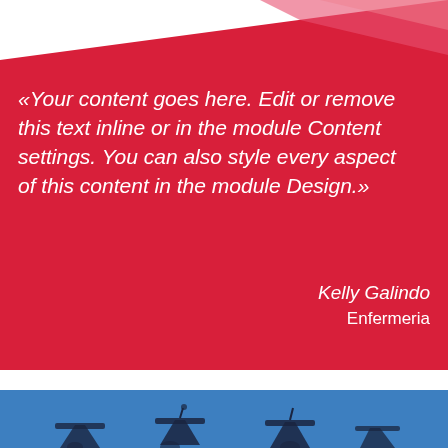[Figure (illustration): Red trapezoid/parallelogram background shape covering the top ~83% of the page, with a lighter red glossy highlight stripe at the top right corner.]
«Your content goes here. Edit or remove this text inline or in the module Content settings. You can also style every aspect of this content in the module Design.»
Kelly Galindo
Enfermeria
[Figure (photo): Graduation caps being tossed in the air against a blue sky background. The image is tinted blue. Silhouettes of hands and mortarboard caps are visible.]